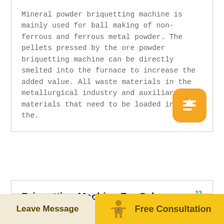Mineral powder briquetting machine is mainly used for ball making of non-ferrous and ferrous metal powder. The pellets pressed by the ore powder briquetting machine can be directly smelted into the furnace to increase the added value. All waste materials in the metallurgical industry and auxiliary materials that need to be loaded into the.
Briquetting Machine For Sale
The large-scale high-pressure dry powder briquette machine It has a relatively large
Leave Message   Free Consultation